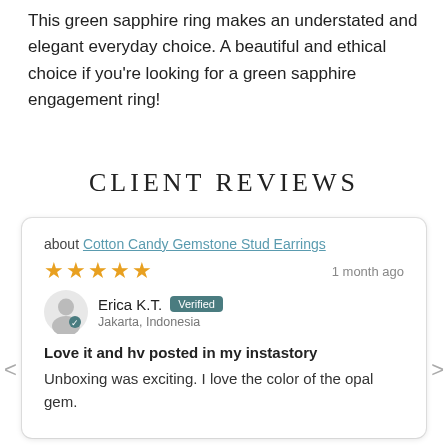This green sapphire ring makes an understated and elegant everyday choice. A beautiful and ethical choice if you're looking for a green sapphire engagement ring!
CLIENT REVIEWS
about Cotton Candy Gemstone Stud Earrings
★★★★★  1 month ago
Erica K.T. Verified
Jakarta, Indonesia
Love it and hv posted in my instastory
Unboxing was exciting. I love the color of the opal gem.